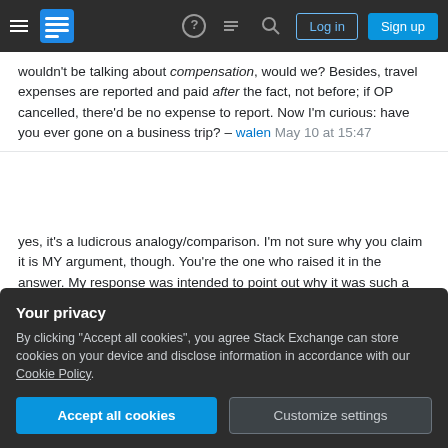Stack Exchange navigation bar with hamburger menu, logo, help, chat, search, Log in, Sign up
wouldn't be talking about compensation, would we? Besides, travel expenses are reported and paid after the fact, not before; if OP cancelled, there'd be no expense to report. Now I'm curious: have you ever gone on a business trip? – walen May 10 at 15:47
yes, it's a ludicrous analogy/comparison. I'm not sure why you claim it is MY argument, though. You're the one who raised it in the answer. My response was intended to point out why it was such a bad analogy, because the luggage and contents were probably NOT paid for by the company, unlike the ticket, so the comparison is not apt. – PoloHoleSet May 10 at 18:42
Your privacy
By clicking "Accept all cookies", you agree Stack Exchange can store cookies on your device and disclose information in accordance with our Cookie Policy.
Accept all cookies
Customize settings